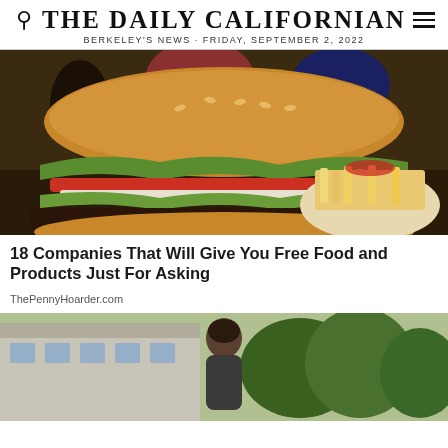THE DAILY CALIFORNIAN
BERKELEY'S NEWS · FRIDAY, SEPTEMBER 2, 2022
[Figure (photo): Large oversized hamburger with lettuce and tomato on a plate, with people in formal attire eating burgers in the background, plus a plate of french fries with ketchup]
18 Companies That Will Give You Free Food and Products Just For Asking
ThePennyHoarder.com
[Figure (photo): Person standing outside a building with trees in the background]